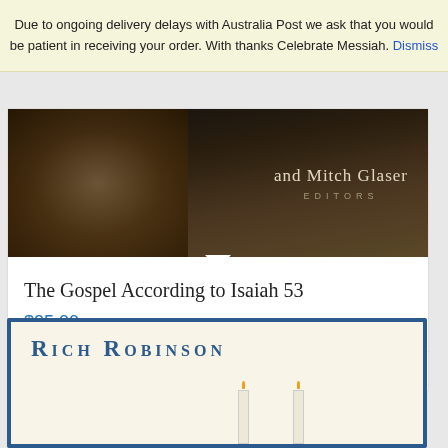Due to ongoing delivery delays with Australia Post we ask that you would be patient in receiving your order. With thanks Celebrate Messiah. Dismiss
[Figure (photo): Book cover detail showing 'and Mitch Glaser EDITORS' text on dark background]
The Gospel According to Isaiah 53
$25.00
Add to cart
Show Details
[Figure (photo): Second book cover with cream background, showing 'Rich Robinson' author name in dark blue small-caps text, with two white candles at bottom]